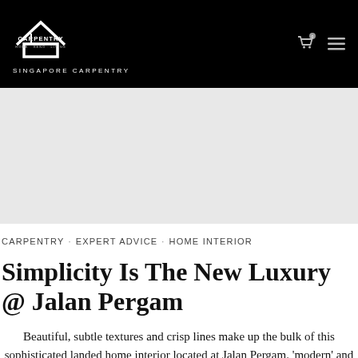CARPENTRY · EXPERT ADVICE · HOME INTERIOR — Singapore Carpentry
[Figure (other): Gray hero image placeholder area]
CARPENTRY · EXPERT ADVICE · HOME INTERIOR
Simplicity Is The New Luxury @ Jalan Pergam
Beautiful, subtle textures and crisp lines make up the bulk of this sophisticated landed home interior located at Jalan Pergam. 'modern' and 'clean' were the key words our client...